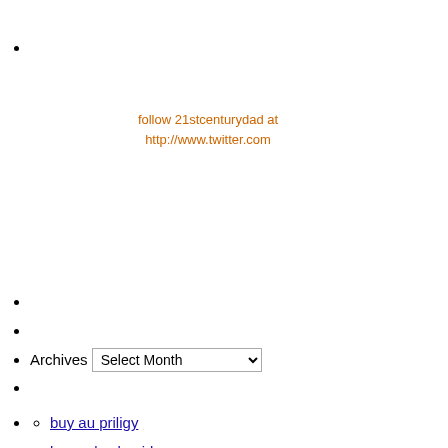[Figure (other): Twitter follow badge showing 'follow 21stcenturydad at http://www.twitter.com' in orange text]
Archives [Select Month dropdown]
sub-list: buy au priligy, buy sale clomid au, sale canadian pharmacy viagra online, cheapest usa ventolin, for sale cialis
buy au priligy
buy sale clomid au
sale canadian pharmacy viagra online
cheapest usa ventolin
for sale cialis